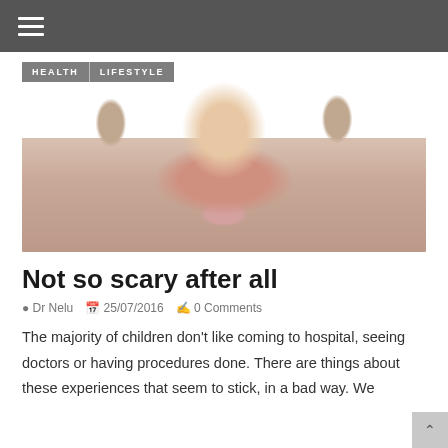≡
[Figure (photo): Young girl in a striped swimsuit making a funny face, pulling her hair to the sides, photographed from above against a light background. Category tags 'HEALTH' and 'LIFESTYLE' are overlaid in the top-left corner.]
Not so scary after all
Dr Nelu   25/07/2016   0 Comments
The majority of children don't like coming to hospital, seeing doctors or having procedures done. There are things about these experiences that seem to stick, in a bad way. We